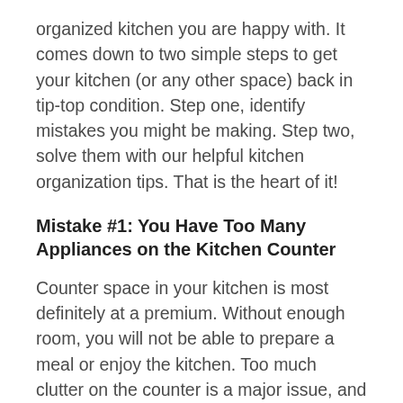organized kitchen you are happy with. It comes down to two simple steps to get your kitchen (or any other space) back in tip-top condition. Step one, identify mistakes you might be making. Step two, solve them with our helpful kitchen organization tips. That is the heart of it!
Mistake #1: You Have Too Many Appliances on the Kitchen Counter
Counter space in your kitchen is most definitely at a premium. Without enough room, you will not be able to prepare a meal or enjoy the kitchen. Too much clutter on the counter is a major issue, and many times it is because you have too many appliances on the counter that are not being utilized. If you have not used an appliance in the recent month, it does not have to be displayed on the counter. Consider every